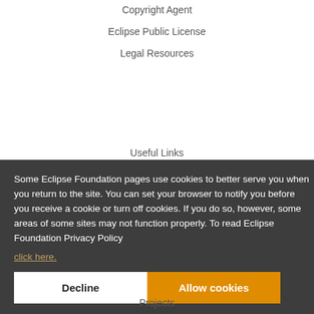Copyright Agent
Eclipse Public License
Legal Resources
Useful Links
Some Eclipse Foundation pages use cookies to better serve you when you return to the site. You can set your browser to notify you before you receive a cookie or turn off cookies. If you do so, however, some areas of some sites may not function properly. To read Eclipse Foundation Privacy Policy click here.
Decline
Allow cookies
Projects